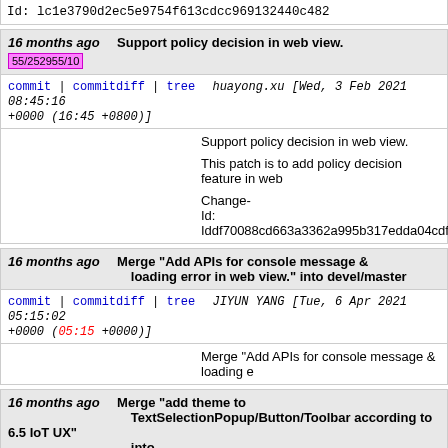Id: lc1e3790d2ec5e9754f613cdcc969132440c482
16 months ago   Support policy decision in web view.
55/252955/10
commit | commitdiff | tree   huayong.xu [Wed, 3 Feb 2021 08:45:16 +0000 (16:45 +0800)]
Support policy decision in web view.

This patch is to add policy decision feature in web

Change-Id: Iddf70088cd663a3362a995b317edda04cdf058
16 months ago   Merge "Add APIs for console message & loading error in web view." into devel/master
commit | commitdiff | tree   JIYUN YANG [Tue, 6 Apr 2021 05:15:02 +0000 (05:15 +0000)]
Merge "Add APIs for console message & loading e
16 months ago   Merge "add theme to TextSelectionPopup/Button/Toolbar according to 6.5 IoT UX" into...
commit | commitdiff | tree   Bowon Ryu [Mon, 5 Apr 2021 10:14:21